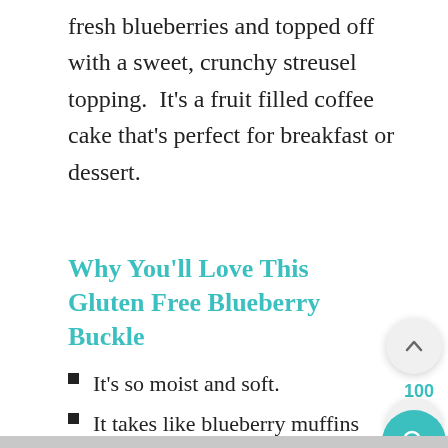fresh blueberries and topped off with a sweet, crunchy streusel topping.  It's a fruit filled coffee cake that's perfect for breakfast or dessert.
Why You'll Love This Gluten Free Blueberry Buckle
It's so moist and soft.
It takes like blueberry muffins in cake form.
It's acceptable to eat for breakfast ☺
It's gluten free and dairy free!